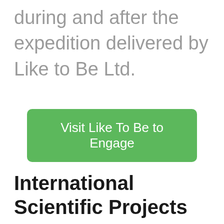during and after the expedition delivered by Like to Be Ltd.
Visit Like To Be to Engage
International Scientific Projects